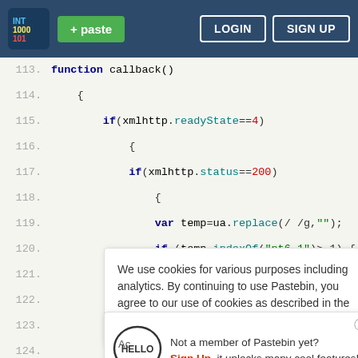[Figure (screenshot): Pastebin website header with logo, green paste button, LOGIN and SIGN UP buttons on dark blue background]
function callback()
{
if(xmlhttp.readyState==4)
{
if(xmlhttp.status==200)
{
var temp=ua.replace(/ /g,"");
if (temp.indexOf("nt6.1")>-1) {
We use cookies for various purposes including analytics. By continuing to use Pastebin, you agree to our use of cookies as described in the Cookies Policy.   OK, I Understand
try {
Not a member of Pastebin yet? Sign Up, it unlocks many cool features!
catch (e) {